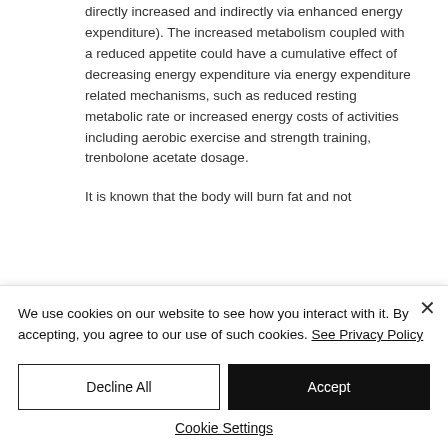directly increased and indirectly via enhanced energy expenditure). The increased metabolism coupled with a reduced appetite could have a cumulative effect of decreasing energy expenditure via energy expenditure related mechanisms, such as reduced resting metabolic rate or increased energy costs of activities including aerobic exercise and strength training, trenbolone acetate dosage.
It is known that the body will burn fat and not the...
We use cookies on our website to see how you interact with it. By accepting, you agree to our use of such cookies. See Privacy Policy
Decline All
Accept
Cookie Settings